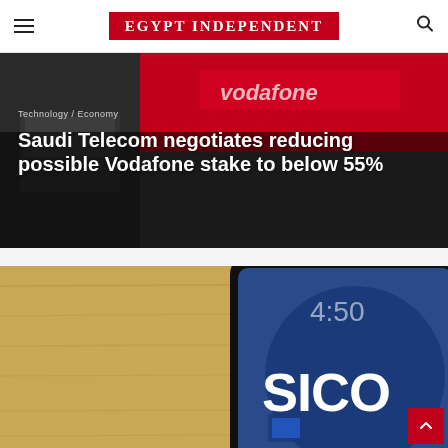EGYPT INDEPENDENT
[Figure (photo): Vodafone store front with red signage, used as background image for article about Saudi Telecom negotiating Vodafone stake]
Saudi Telecom negotiates reducing possible Vodafone stake to below 55%
[Figure (photo): Close-up of a smartphone displaying the SICO app on screen, placed on a wooden surface, with Technology category badge overlay]